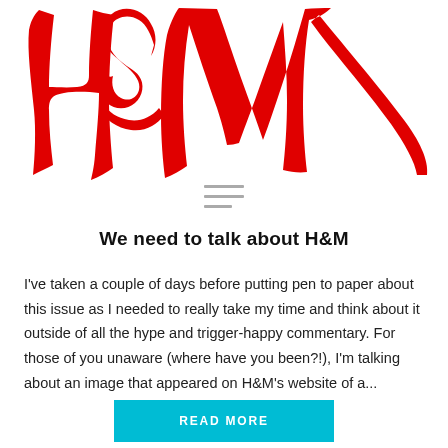[Figure (logo): H&M logo in large red handwritten/script style lettering]
We need to talk about H&M
I've taken a couple of days before putting pen to paper about this issue as I needed to really take my time and think about it outside of all the hype and trigger-happy commentary. For those of you unaware (where have you been?!), I'm talking about an image that appeared on H&M's website of a...
READ MORE